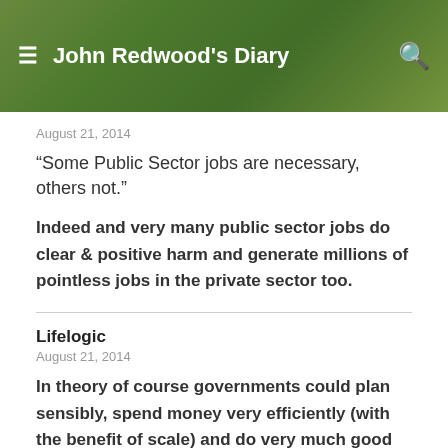[Figure (screenshot): Website header banner with green leaf/plant background image, hamburger menu icon on left, site title 'John Redwood's Diary' in center-left, and search icon on right]
August 21, 2014
“Some Public Sector jobs are necessary, others not.”
Indeed and very many public sector jobs do clear & positive harm and generate millions of pointless jobs in the private sector too.
Lifelogic
August 21, 2014
In theory of course governments could plan sensibly, spend money very efficiently (with the benefit of scale) and do very much good with it. In practice this never happens due to corruption, incompetence, vote buying and the fact that it is